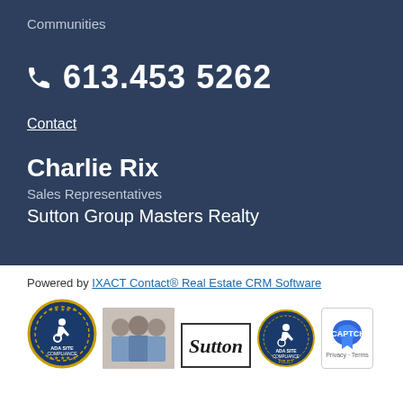Communities
📞 613.453 5262
Contact
Charlie Rix
Sales Representatives
Sutton Group Masters Realty
Powered by IXACT Contact® Real Estate CRM Software
[Figure (logo): ADA Site Compliance badge with wheelchair icon]
[Figure (photo): Photo of real estate agents]
[Figure (logo): Sutton logo in a square border]
[Figure (logo): Second ADA Site Compliance badge]
[Figure (logo): reCAPTCHA badge with Privacy and Terms links]